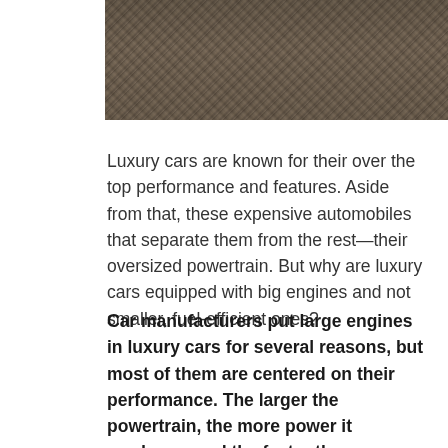[Figure (photo): Close-up photograph of gravel or rocky ground texture, sepia/grey toned]
Luxury cars are known for their over the top performance and features. Aside from that, these expensive automobiles that separate them from the rest—their oversized powertrain. But why are luxury cars equipped with big engines and not smaller, fuel-efficient ones?
Car manufacturers put large engines in luxury cars for several reasons, but most of them are centered on their performance. The larger the powertrain, the more power it produces, and the faster the car can accelerate. Additionally, the size of the engine also affects its top speed